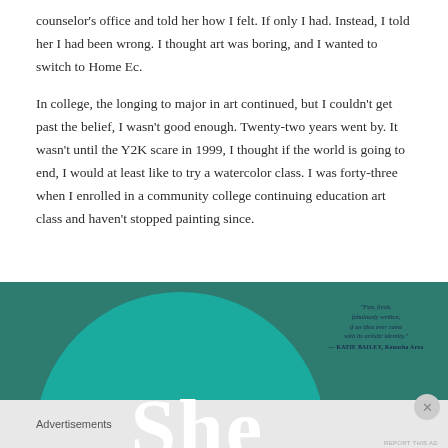counselor's office and told her how I felt. If only I had. Instead, I told her I had been wrong. I thought art was boring, and I wanted to switch to Home Ec.
In college, the longing to major in art continued, but I couldn't get past the belief, I wasn't good enough. Twenty-two years went by. It wasn't until the Y2K scare in 1999, I thought if the world is going to end, I would at least like to try a watercolor class. I was forty-three when I enrolled in a community college continuing education art class and haven't stopped painting since.
[Figure (illustration): Teal/green semi-circular book cover or promotional graphic with large white 'She' text. A small quote block appears on the right side with italic text and an attribution line reading '— KATIE BAILEY, Kenosha Area'.]
Advertisements